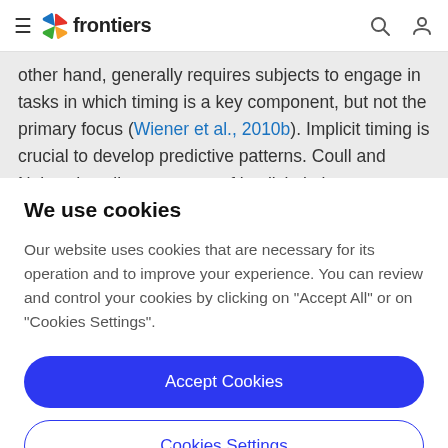frontiers
other hand, generally requires subjects to engage in tasks in which timing is a key component, but not the primary focus (Wiener et al., 2010b). Implicit timing is crucial to develop predictive patterns. Coull and Nobre describe two types of implicit timing: exogenous versus
We use cookies
Our website uses cookies that are necessary for its operation and to improve your experience. You can review and control your cookies by clicking on "Accept All" or on "Cookies Settings".
Accept Cookies
Cookies Settings